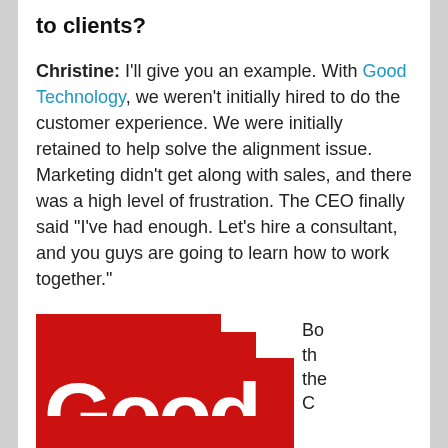to clients?
Christine: I'll give you an example. With Good Technology, we weren't initially hired to do the customer experience. We were initially retained to help solve the alignment issue. Marketing didn't get along with sales, and there was a high level of frustration. The CEO finally said “I’ve had enough. Let’s hire a consultant, and you guys are going to learn how to work together.”
[Figure (logo): Good Technology logo — red background with white 'Good' lettering, partially cropped at bottom of page. To the right: partial text 'Bo th the C']